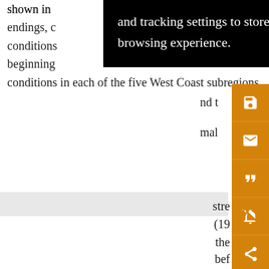shown in ... and tracking settings to store information that help give you the very best browsing experience. endings, c... nd t beginning ... mal conditions in each of the five West Coast subregions.
stre (19 the bef two